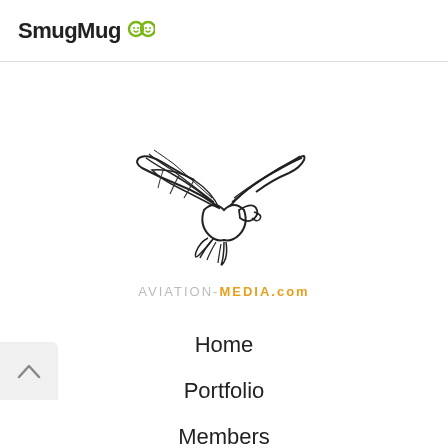SmugMug
[Figure (logo): Aviation-Media.com eagle logo — a stylized eagle with wings spread, rendered in black line art, above the text AVIATION-MEDIA.COM in grey and orange]
Home
Portfolio
Members
Pictures
Reports
Air to Air